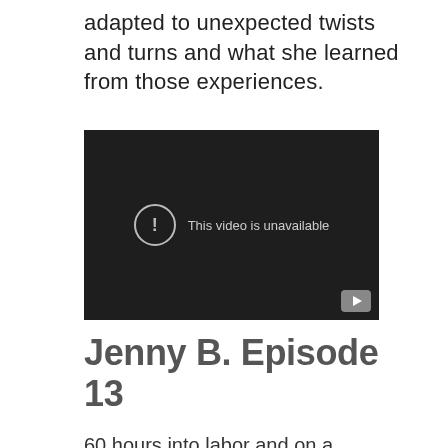adapted to unexpected twists and turns and what she learned from those experiences.
[Figure (screenshot): Embedded video player showing 'This video is unavailable' message on a dark background with a YouTube play button icon in the bottom right corner.]
Jenny B. Episode 13
60 hours into labor and on a